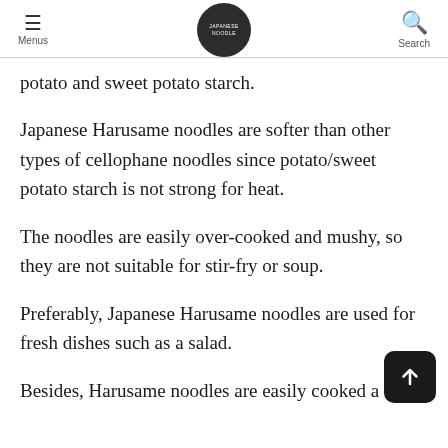Menus | [logo] | Search
potato and sweet potato starch.
Japanese Harusame noodles are softer than other types of cellophane noodles since potato/sweet potato starch is not strong for heat.
The noodles are easily over-cooked and mushy, so they are not suitable for stir-fry or soup.
Preferably, Japanese Harusame noodles are used for fresh dishes such as a salad.
Besides, Harusame noodles are easily cooked a